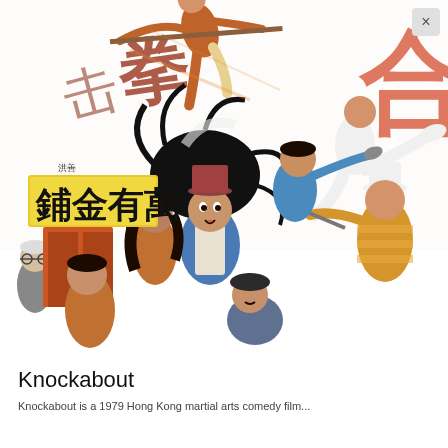[Figure (illustration): Colorful martial arts action illustration showing multiple characters fighting in front of a Chinese shop sign reading 萬有金鋪. Characters are shown in dynamic combat poses — some airborne with weapons, others grappling on the ground. The art style is a detailed comic/movie poster illustration typical of 1970s–80s Hong Kong martial arts films.]
Knockabout
Knockabout is a 1979 Hong Kong martial arts comedy film...